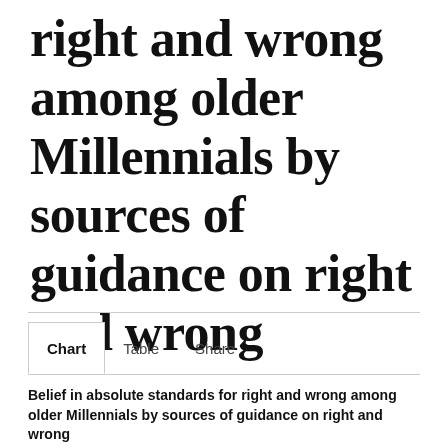right and wrong among older Millennials by sources of guidance on right and wrong
Chart | Table | Share
Belief in absolute standards for right and wrong among older Millennials by sources of guidance on right and wrong